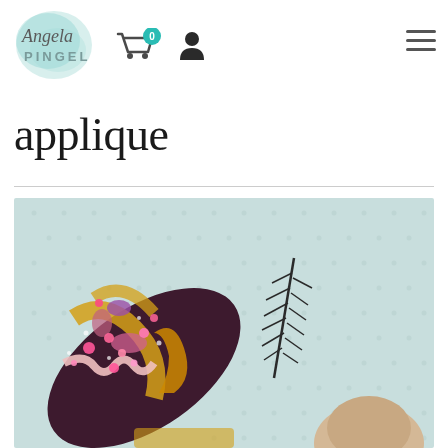[Figure (logo): Angela Pingel logo with teal/mint watercolor background and stylized script 'Angela' above sans-serif 'PINGEL' text]
[Figure (infographic): Shopping cart icon with teal circle badge showing '0', and person/user icon]
[Figure (infographic): Hamburger menu icon (three horizontal lines)]
applique
[Figure (photo): Close-up photo of colorful fabric applique/embroidery work featuring decorative textile art with bright yellow, purple, pink and brown fabric pieces on a light blue polka dot background, with a dark fern/leaf embroidery element and a white rounded fabric shape]